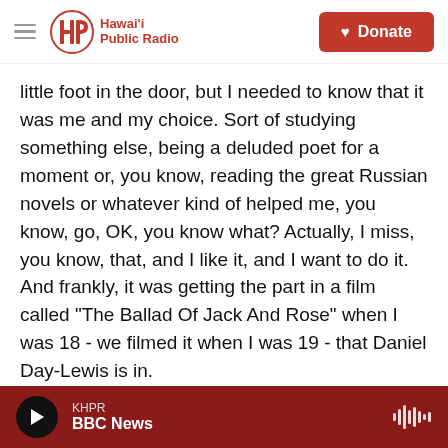Hawai'i Public Radio — Donate
little foot in the door, but I needed to know that it was me and my choice. Sort of studying something else, being a deluded poet for a moment or, you know, reading the great Russian novels or whatever kind of helped me, you know, go, OK, you know what? Actually, I miss, you know, that, and I like it, and I want to do it. And frankly, it was getting the part in a film called "The Ballad Of Jack And Rose" when I was 18 - we filmed it when I was 19 - that Daniel Day-Lewis is in.
And that was the first time on film I got to play a character that was not like myself, so to speak. I
KHPR BBC News